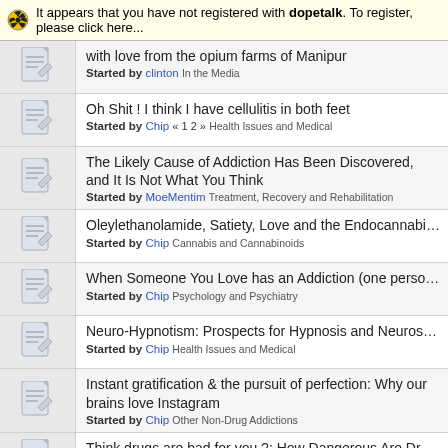It appears that you have not registered with dopetalk. To register, please click here...
with love from the opium farms of Manipur - Started by clinton In the Media
Oh Shit ! I think I have cellulitis in both feet - Started by Chip « 1 2 » Health Issues and Medical
The Likely Cause of Addiction Has Been Discovered, and It Is Not What You Think - Started by MoeMentim Treatment, Recovery and Rehabilitation
Oleylethanolamide, Satiety, Love and the Endocannabinoid system - Started by Chip Cannabis and Cannabinoids
When Someone You Love has an Addiction (one person's view) - Started by Chip Psychology and Psychiatry
Neuro-Hypnotism: Prospects for Hypnosis and Neuroscience - Started by Chip Health Issues and Medical
Instant gratification & the pursuit of perfection: Why our brains love Instagram - Started by Chip Other Non-Drug Addictions
Think drugs are bad for you ?: How Dangerous Are Drugs, Really? - Started by Chip Medical
Can you be addicted to being in love ? - Started by Chip Other Non-Drug Addictions